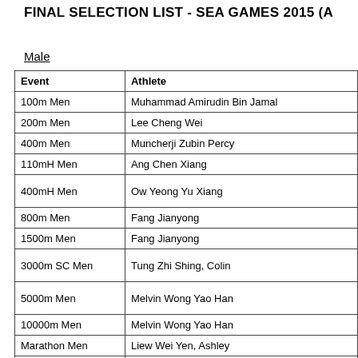FINAL SELECTION LIST - SEA GAMES 2015 (A...
Male
| Event | Athlete | Athlete | Athlete |
| --- | --- | --- | --- |
| 100m Men | Muhammad Amirudin Bin Jamal |  | Calvin K... |
| 200m Men | Lee Cheng Wei |  | Muhamm... |
| 400m Men | Muncherji Zubin Percy |  | Ng Chin... |
| 110mH Men | Ang Chen Xiang |  | Awyong... |
| 400mH Men | Ow Yeong Yu Xiang |  | Raymond Hoong... |
| 800m Men | Fang Jianyong |  | Zachary... |
| 1500m Men | Fang Jianyong |  | Raviin S... |
| 3000m SC Men | Tung Zhi Shing, Colin |  | Muhamm... Mohede... |
| 5000m Men | Melvin Wong Yao Han |  | Jeevane... Sounda... |
| 10000m Men | Melvin Wong Yao Han |  | Soh Rui... |
| Marathon Men | Liew Wei Yen, Ashley |  | Soh Rui... |
| 20km (R) Walk Men | Joel Koh Zhi Xuan |  | Sim Soo... |
| 4x100m Men | Muhammad Amirudin Bin Jamal | Calvin Kang Li Loong | Muhamm... |